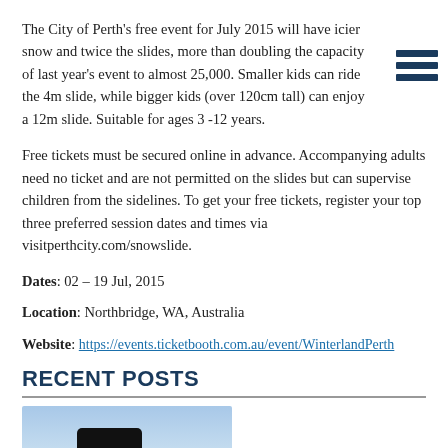The City of Perth's free event for July 2015 will have icier snow and twice the slides, more than doubling the capacity of last year's event to almost 25,000. Smaller kids can ride the 4m slide, while bigger kids (over 120cm tall) can enjoy a 12m slide. Suitable for ages 3 -12 years.
Free tickets must be secured online in advance. Accompanying adults need no ticket and are not permitted on the slides but can supervise children from the sidelines. To get your free tickets, register your top three preferred session dates and times via visitperthcity.com/snowslide.
Dates: 02 – 19 Jul, 2015
Location: Northbridge, WA, Australia
Website: https://events.ticketbooth.com.au/event/WinterlandPerth
RECENT POSTS
[Figure (photo): Photo of a coffee cup or similar dark object in front of a sea/sky background]